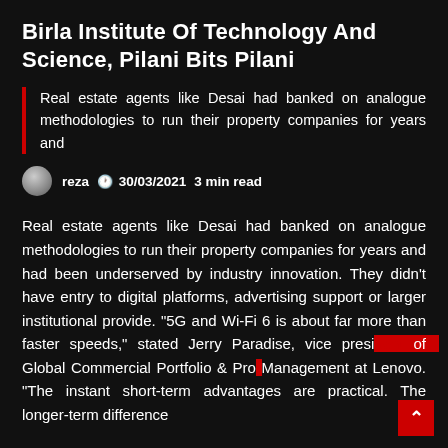Birla Institute Of Technology And Science, Pilani Bits Pilani
Real estate agents like Desai had banked on analogue methodologies to run their property companies for years and
reza  30/03/2021  3 min read
Real estate agents like Desai had banked on analogue methodologies to run their property companies for years and had been underserved by industry innovation. They didn't have entry to digital platforms, advertising support or larger institutional provide. “5G and Wi-Fi 6 is about far more than faster speeds,” stated Jerry Paradise, vice president of Global Commercial Portfolio & Pro Management at Lenovo. “The instant short-term advantages are practical. The longer-term difference